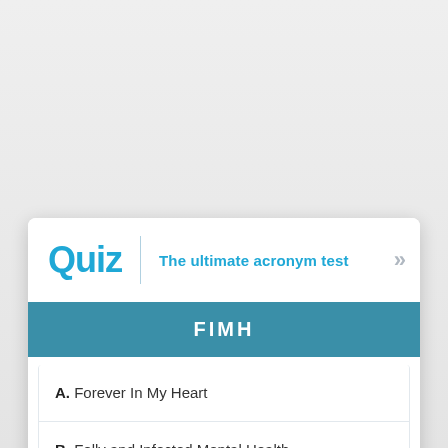Quiz | The ultimate acronym test
FIMH
A. Forever In My Heart
B. Folly and Infected Mental Health
C. For Israeli Military Heroes